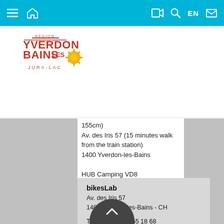Navigation bar with menu, home, video, search, EN, mail icons
[Figure (logo): Région Yverdon-les-Bains Jura-Lac logo with red text and sunflower emblem]
155cm)
Av. des Iris 57 (15 minutes walk from the train station)
1400 Yverdon-les-Bains
HUB Camping VD8
Classic e-bikes
Route de la Grève 1
1400 Cheseaux-Noréaz
bikesLab
Av. des Iris 57
1400 Yverdon-les-Bains - CH

Tel : +41 (0)24 555 18 68

info@bikeslab.ch
https://www...ch/